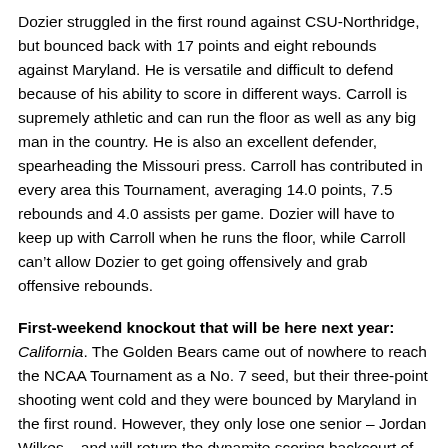Dozier struggled in the first round against CSU-Northridge, but bounced back with 17 points and eight rebounds against Maryland. He is versatile and difficult to defend because of his ability to score in different ways. Carroll is supremely athletic and can run the floor as well as any big man in the country. He is also an excellent defender, spearheading the Missouri press. Carroll has contributed in every area this Tournament, averaging 14.0 points, 7.5 rebounds and 4.0 assists per game. Dozier will have to keep up with Carroll when he runs the floor, while Carroll can't allow Dozier to get going offensively and grab offensive rebounds.
First-weekend knockout that will be here next year: California. The Golden Bears came out of nowhere to reach the NCAA Tournament as a No. 7 seed, but their three-point shooting went cold and they were bounced by Maryland in the first round. However, they only lose one senior – Jordan Wilkes – and will return the dynamite scoring backcourt of Jerome Randle and Patrick Christopher. Shooter Theo Robertson and Jamal Boykin also return to the starting lineup. Harper Kemp came on strong as the season went on, and could be poised for a big season. Jorge Gutierrez also impressed during the season. Texas A&M only loses Josh Carter, and will bring in Naji Hibbert to replace him, while Maryland gets an influx of two talented big guys to help shore up its